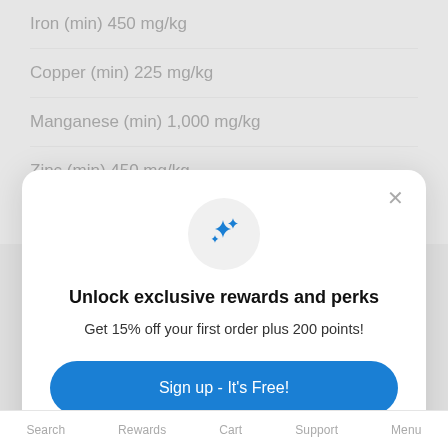Iron (min) 450 mg/kg
Copper (min) 225 mg/kg
Manganese (min) 1,000 mg/kg
Zinc (min) 450 mg/kg
Iodine (min) 2.15 mg/kg
[Figure (screenshot): Modal popup overlay with sparkle icon, heading 'Unlock exclusive rewards and perks', subtext 'Get 15% off your first order plus 200 points!', a blue 'Sign up - It's Free!' button, and a 'Already have an account? Sign in' link. A close (×) button appears in the top-right corner of the modal.]
Search   Rewards   Cart   Support   Menu